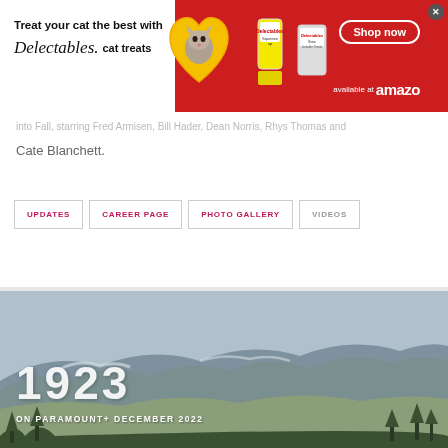[Figure (screenshot): Delectables cat treats advertisement banner with red and white background, cat image in yellow heart circle, product images, Shop now button, and Amazon logo]
...into Fall, starring Fred Armisen, Bill Hader, Dean Norris, Rhys Thomas and Cate Blanchett.
UPDATES
CAREER PAGE
PHOTO GALLERY
VIDEOS
[Figure (photo): 1923 TV show banner with mountain landscape background, showing title '1923' and text 'ON PARAMOUNT+ DECEMBER 2022']
[Figure (screenshot): VENUS women's fashion advertisement with thumbnail, headline 'Women's Fashion | Shop Online | VENUS', description and venus.com URL, blue arrow button]